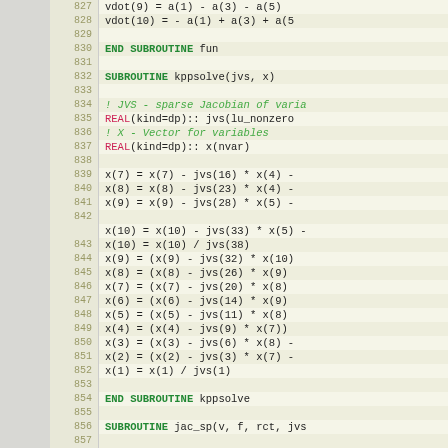Source code listing: Fortran subroutines fun, kppsolve, jac_sp. Lines 827–858.